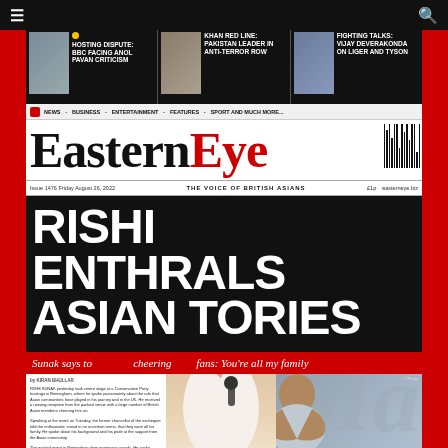≡  [search icon]
[Figure (photo): Three story banners at top: 1) HOSTING DISPUTE: BBC FACING ANOL PAVAN CRITICISM, 2) KHAN RED LINE: PAKISTAN LEADER IN ANTI-TERROR ROW, 3) FIGHTING TALKS: VIJAY DEVERAKONDA ON LIGER AND TYSON]
NEWS · BUSINESS · ENTERTAINMENT · FEATURES · SPORT AND MUCH MORE...
EasternEye
Issue 1476 Friday August 26, 2022  |  THE VOICE OF BRITISH ASIANS  |  £1p  |  easterneye.biz
RISHI ENTHRALS ASIAN TORIES
Sunak says to cheering fans: You're all my family
[Figure (photo): Photo of Rishi Sunak pointing up at a political event, with another person visible to the right]
by KIRAN BHULLAR

RISHI SUNAK yesterday took centre stage at a Conservative Party hustings in Birmingham, where he spoke passionately about the role that Asian communities have played in his journey and in the UK. He received a rousing reception from the packed venue...

Speaking at the event on Tuesday, the former chancellor of the exchequer told the cheering crowd in no uncertain terms: 'You're all my family'...